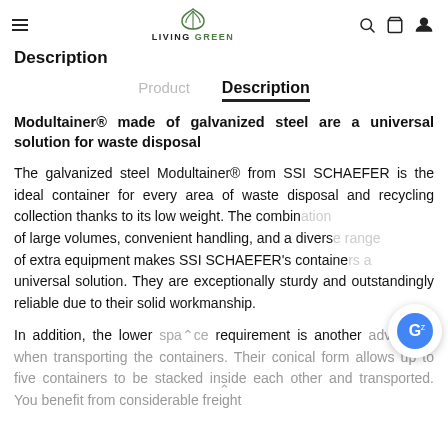LIVING GREEN
Description
Product   Description
Modultainer® made of galvanized steel are a universal solution for waste disposal
The galvanized steel Modultainer® from SSI SCHAEFER is the ideal container for every area of waste disposal and recycling collection thanks to its low weight. The combination of large volumes, convenient handling, and a diverse range of extra equipment makes SSI SCHAEFER's containers a universal solution. They are exceptionally sturdy and outstandingly reliable due to their solid workmanship.
In addition, the lower space requirement is another advantage when transporting the containers. Their conical form allows up to five containers to be stacked inside each other and transported. You benefit from considerable freight